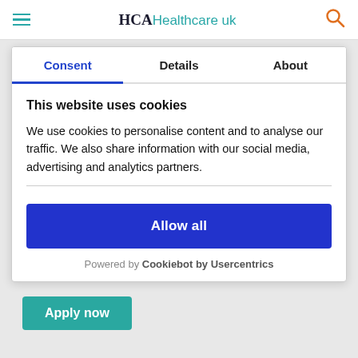HCA Healthcare uk
Consent | Details | About
This website uses cookies
We use cookies to personalise content and to analyse our traffic. We also share information with our social media, advertising and analytics partners.
Allow all
Powered by Cookiebot by Usercentrics
Apply now